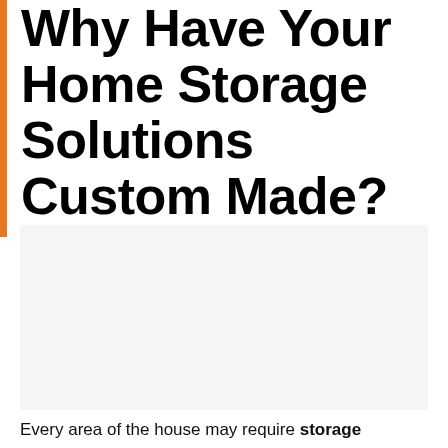Why Have Your Home Storage Solutions Custom Made?
[Figure (photo): Image placeholder showing a home storage area, light gray background]
Every area of the house may require storage